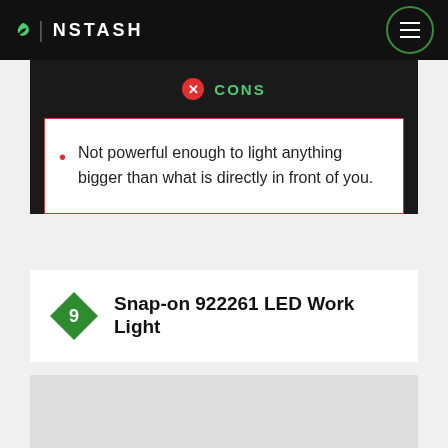INSTASH
CONS
Not powerful enough to light anything bigger than what is directly in front of you.
9 Snap-on 922261 LED Work Light
[Figure (photo): Bottom photo area, light gray background, product image partially shown]